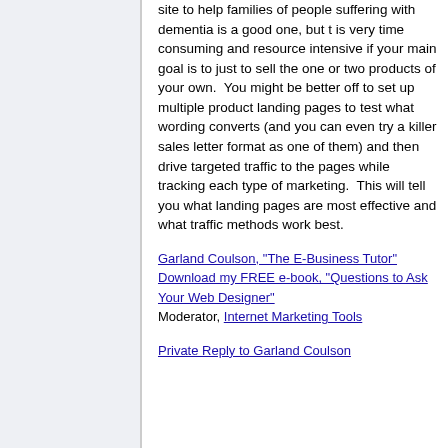site to help families of people suffering with dementia is a good one, but t is very time consuming and resource intensive if your main goal is to just to sell the one or two products of your own.  You might be better off to set up multiple product landing pages to test what wording converts (and you can even try a killer sales letter format as one of them) and then drive targeted traffic to the pages while tracking each type of marketing.  This will tell you what landing pages are most effective and what traffic methods work best.
Garland Coulson, "The E-Business Tutor"
Download my FREE e-book, "Questions to Ask Your Web Designer"
Moderator, Internet Marketing Tools
Private Reply to Garland Coulson